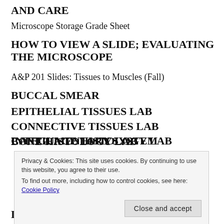AND CARE
Microscope Storage Grade Sheet
HOW TO VIEW A SLIDE; EVALUATING THE MICROSCOPE
A&P 201 Slides: Tissues to Muscles (Fall)
BUCCAL SMEAR
EPITHELIAL TISSUES LAB
CONNECTIVE TISSUES LAB
CARTILAGE HISTOLOGY LAB
INTEGUMENTARY SYSTEM
BONE HISTOLOGY LAB
Privacy & Cookies: This site uses cookies. By continuing to use this website, you agree to their use.
To find out more, including how to control cookies, see here: Cookie Policy
DISSECTION OF CAT I: SKINNING